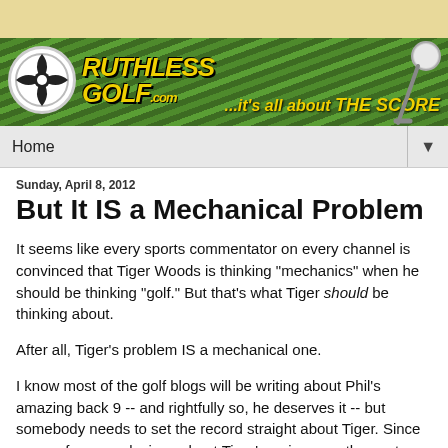[Figure (logo): RuthlessGolf.com website banner with green grass background, logo with soccer-ball style circle, yellow text 'RUTHLESS GOLF.com', and tagline '...it's all about THE SCORE']
Home ▼
Sunday, April 8, 2012
But It IS a Mechanical Problem
It seems like every sports commentator on every channel is convinced that Tiger Woods is thinking "mechanics" when he should be thinking "golf." But that's what Tiger should be thinking about.
After all, Tiger's problem IS a mechanical one.
I know most of the golf blogs will be writing about Phil's amazing back 9 -- and rightfully so, he deserves it -- but somebody needs to set the record straight about Tiger. Since many of my conclusions about Tiger's swing over the past